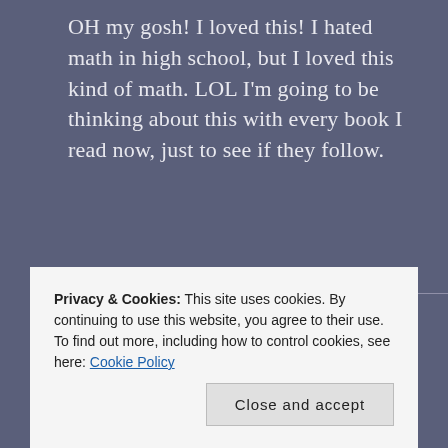OH my gosh! I loved this! I hated math in high school, but I loved this kind of math. LOL I'm going to be thinking about this with every book I read now, just to see if they follow.
★ Liked by 2 people
Reply
Privacy & Cookies: This site uses cookies. By continuing to use this website, you agree to their use. To find out more, including how to control cookies, see here: Cookie Policy
Close and accept